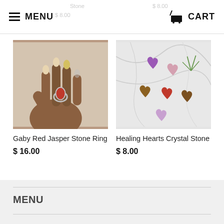MENU  CART
[Figure (photo): A dark-skinned hand with long nails wearing a silver ring with a red jasper stone oval cabochon, photographed against a light beige background.]
Gaby Red Jasper Stone Ring
$ 16.00
[Figure (photo): Multiple polished crystal heart stones in various colors (purple amethyst, rose quartz, tiger eye, red jasper) arranged on a white marble surface with a small air plant in the corner.]
Healing Hearts Crystal Stone
$ 8.00
MENU